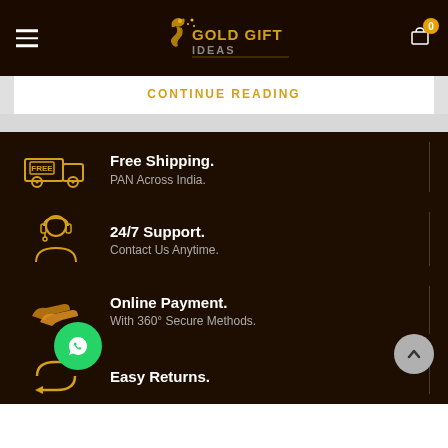Gold Gift Ideas – navigation header with logo and cart
CONTINUE READING
Free Shipping. PAN Across India.
24/7 Support. Contact Us Anytime.
Online Payment. With 360° Secure Methods.
Easy Returns.